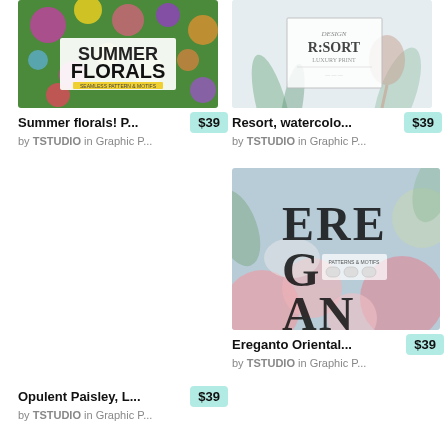[Figure (photo): Summer florals pattern thumbnail - colorful floral image with text overlay 'SUMMER FLORALS']
Summer florals! P...
$39
by TSTUDIO in Graphic P...
[Figure (photo): Resort watercolor design thumbnail - light illustrated design with flamingo and plants, text 'RESORT LUXURY PRINT']
Resort, watercolo...
$39
by TSTUDIO in Graphic P...
[Figure (photo): Ereganto Oriental design thumbnail - floral/bird design with decorative text 'EREGANTO']
Ereganto Oriental...
$39
by TSTUDIO in Graphic P...
Opulent Paisley, L...
$39
by TSTUDIO in Graphic P...